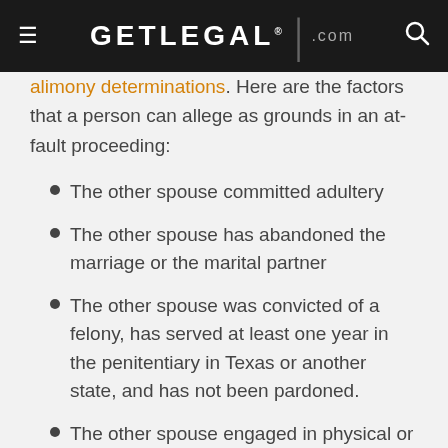GETLEGAL.com
alimony determinations. Here are the factors that a person can allege as grounds in an at-fault proceeding:
The other spouse committed adultery
The other spouse has abandoned the marriage or the marital partner
The other spouse was convicted of a felony, has served at least one year in the penitentiary in Texas or another state, and has not been pardoned.
The other spouse engaged in physical or